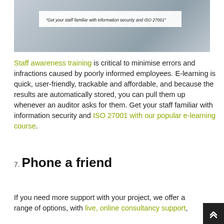[Figure (photo): Background photo of hands on a desk/laptop, with a white quote box overlay reading: "Get your staff familiar with information security and ISO 27001"]
Staff awareness training is critical to minimise errors and infractions caused by poorly informed employees. E-learning is quick, user-friendly, trackable and affordable, and because the results are automatically stored, you can pull them up whenever an auditor asks for them. Get your staff familiar with information security and ISO 27001 with our popular e-learning course.
7. Phone a friend
If you need more support with your project, we offer a range of options, with live, online consultancy support,